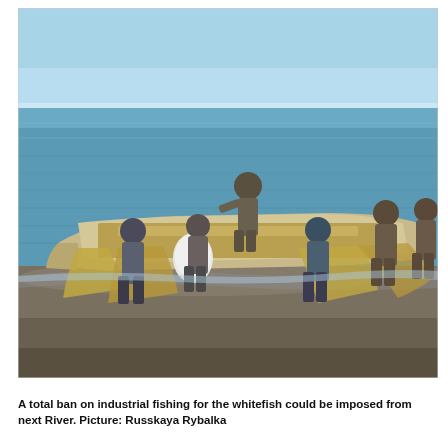[Figure (photo): Fishermen unloading or loading large fishing nets from a wooden boat on a rocky shoreline. Several men in work clothes and boots stand around the boat in shallow water, handling large tan/brown nets. The sea is visible in the background under a clear blue sky.]
A total ban on industrial fishing for the whitefish could be imposed from next River. Picture: Russkaya Rybalka